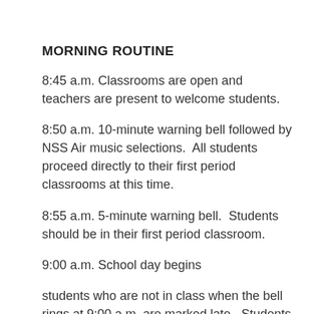MORNING ROUTINE
8:45 a.m. Classrooms are open and teachers are present to welcome students.
8:50 a.m. 10-minute warning bell followed by NSS Air music selections.  All students proceed directly to their first period classrooms at this time.
8:55 a.m. 5-minute warning bell.  Students should be in their first period classroom.
9:00 a.m. School day begins
students who are not in class when the bell rings at 9:00 a.m. are marked late.  Students who arrive after 9:00 a.m. will be counselled by their